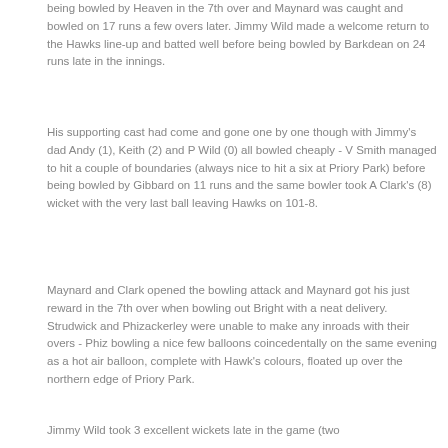being bowled by Heaven in the 7th over and Maynard was caught and bowled on 17 runs a few overs later. Jimmy Wild made a welcome return to the Hawks line-up and batted well before being bowled by Barkdean on 24 runs late in the innings.
His supporting cast had come and gone one by one though with Jimmy's dad Andy (1), Keith (2) and P Wild (0) all bowled cheaply - V Smith managed to hit a couple of boundaries (always nice to hit a six at Priory Park) before being bowled by Gibbard on 11 runs and the same bowler took A Clark's (8) wicket with the very last ball leaving Hawks on 101-8.
Maynard and Clark opened the bowling attack and Maynard got his just reward in the 7th over when bowling out Bright with a neat delivery. Strudwick and Phizackerley were unable to make any inroads with their overs - Phiz bowling a nice few balloons coincedentally on the same evening as a hot air balloon, complete with Hawk's colours, floated up over the northern edge of Priory Park.
Jimmy Wild took 3 excellent wickets late in the game (two